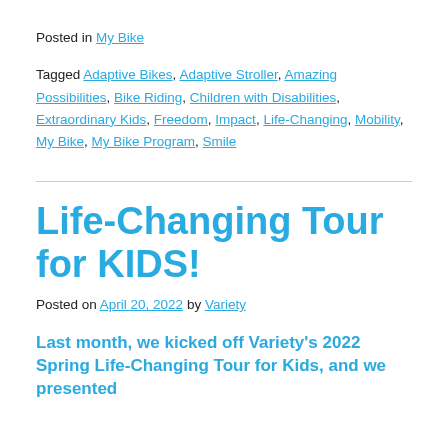Posted in My Bike
Tagged Adaptive Bikes, Adaptive Stroller, Amazing Possibilities, Bike Riding, Children with Disabilities, Extraordinary Kids, Freedom, Impact, Life-Changing, Mobility, My Bike, My Bike Program, Smile
Life-Changing Tour for KIDS!
Posted on April 20, 2022 by Variety
Last month, we kicked off Variety's 2022 Spring Life-Changing Tour for Kids, and we presented